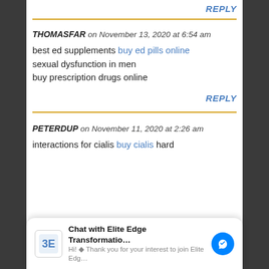REPLY
THOMASFAR on November 13, 2020 at 6:54 am
best ed supplements buy ed pills online sexual dysfunction in men buy prescription drugs online
REPLY
PETERDUP on November 11, 2020 at 2:26 am
interactions for cialis buy cialis hard
[Figure (screenshot): Chat widget: Chat with Elite Edge Transformatio... Hi! Thank you for your interest to join Elite Edg...]